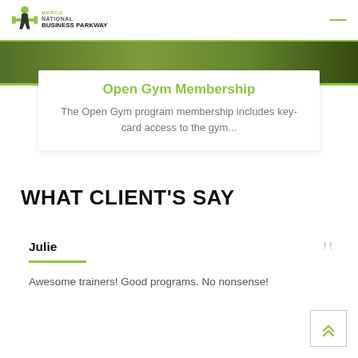MERCO FITNESS PERFORMANCE | NATIONAL BUSINESS PARKWAY
[Figure (photo): Green outdoor/gym photo image strip banner]
Open Gym Membership
The Open Gym program membership includes key-card access to the gym...
WHAT CLIENT'S SAY
Julie
Awesome trainers! Good programs. No nonsense!